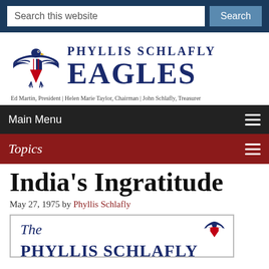Search this website | Search
[Figure (logo): Phyllis Schlafly Eagles logo with eagle and shield graphic, tagline: Ed Martin, President | Helen Marie Taylor, Chairman | John Schlafly, Treasurer]
Main Menu
Topics
India's Ingratitude
May 27, 1975 by Phyllis Schlafly
[Figure (screenshot): The Phyllis Schlafly newsletter header/masthead preview image]